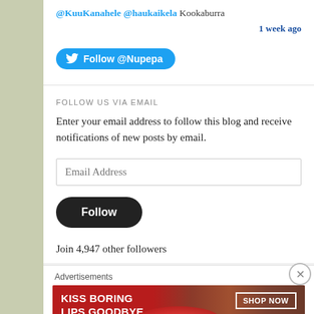@KuuKanahele @haukaikela Kookaburra
1 week ago
[Figure (screenshot): Twitter Follow @Nupepa button in blue rounded pill style]
FOLLOW US VIA EMAIL
Enter your email address to follow this blog and receive notifications of new posts by email.
Email Address (input field)
Follow (button)
Join 4,947 other followers
Advertisements
[Figure (illustration): Macy's advertisement banner: KISS BORING LIPS GOODBYE with SHOP NOW button and Macy's logo, featuring a woman's face with red lips]